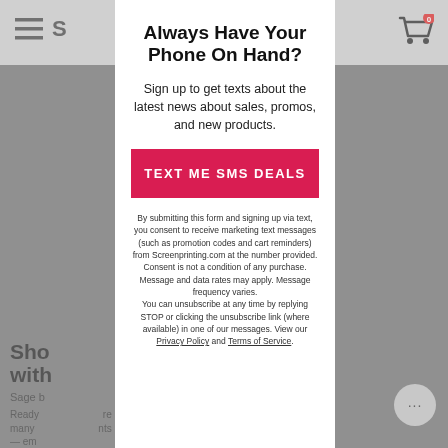[Figure (screenshot): Dimmed website background with navigation bar showing hamburger menu and shopping cart with badge '0', and partially visible page content below]
Always Have Your Phone On Hand?
Sign up to get texts about the latest news about sales, promos, and new products.
TEXT ME SMS DEALS
By submitting this form and signing up via text, you consent to receive marketing text messages (such as promotion codes and cart reminders) from Screenprinting.com at the number provided. Consent is not a condition of any purchase. Message and data rates may apply. Message frequency varies. You can unsubscribe at any time by replying STOP or clicking the unsubscribe link (where available) in one of our messages. View our Privacy Policy and Terms of Service.